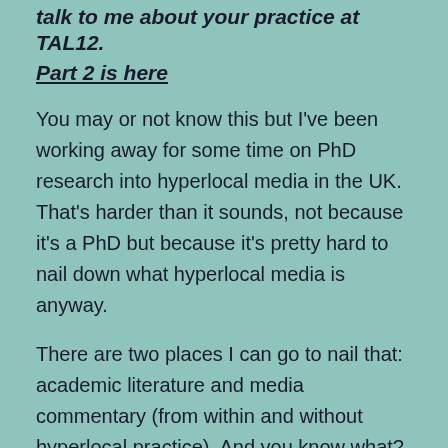talk to me about your practice at TAL12.
Part 2 is here
You may or not know this but I've been working away for some time on PhD research into hyperlocal media in the UK. That's harder than it sounds, not because it's a PhD but because it's pretty hard to nail down what hyperlocal media is anyway.
There are two places I can go to nail that: academic literature and media commentary (from within and without hyperlocal practice). And you know what? All of those wise heads can't really agree on what hyperlocal is either.